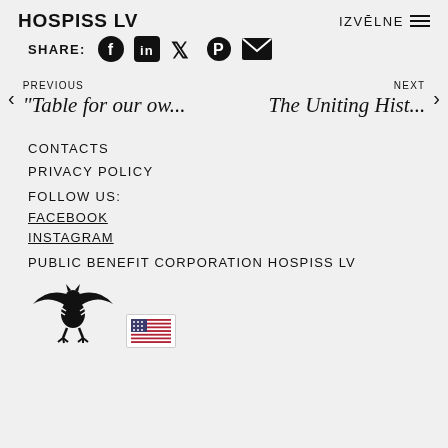HOSPISS LV    IZVĒLNE
SHARE: [facebook] [linkedin] [twitter] [pinterest] [email]
PREVIOUS
"Table for our ow...
NEXT
The Uniting Hist...
CONTACTS
PRIVACY POLICY
FOLLOW US:
FACEBOOK
INSTAGRAM
PUBLIC BENEFIT CORPORATION HOSPISS LV
[Figure (logo): Hospiss LV logo with stylized bird/eagle emblem and US flag badge overlay]